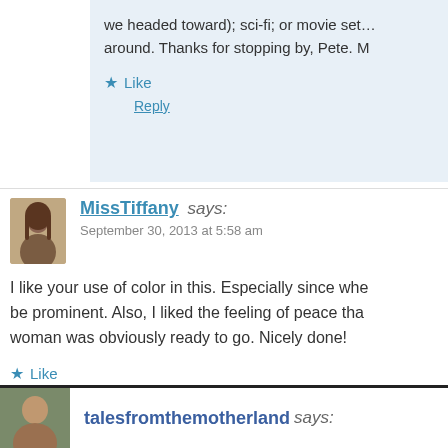we headed toward); sci-fi; or movie set... around. Thanks for stopping by, Pete. M
Like
Reply
MissTiffany says:
September 30, 2013 at 5:58 am
I like your use of color in this. Especially since whe be prominent. Also, I liked the feeling of peace tha woman was obviously ready to go. Nicely done!
Like
Reply
talesfromthemotherland says: